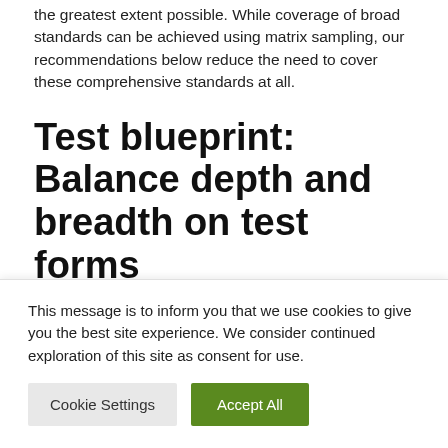the greatest extent possible. While coverage of broad standards can be achieved using matrix sampling, our recommendations below reduce the need to cover these comprehensive standards at all.
Test blueprint: Balance depth and breadth on test forms
As noted above, standalone items are not a strong measure of with more advanced test development and
This message is to inform you that we use cookies to give you the best site experience. We consider continued exploration of this site as consent for use.